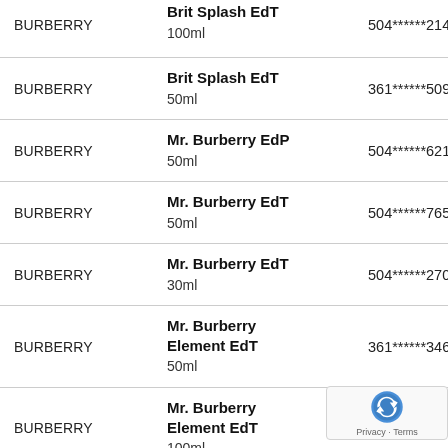| Brand | Product | Code |
| --- | --- | --- |
| BURBERRY | Brit Splash EdT
100ml | 504******2149 |
| BURBERRY | Brit Splash EdT
50ml | 361******5093 |
| BURBERRY | Mr. Burberry EdP
50ml | 504******6212 |
| BURBERRY | Mr. Burberry EdT
50ml | 504******7654 |
| BURBERRY | Mr. Burberry EdT
30ml | 504******2703 |
| BURBERRY | Mr. Burberry Element EdT
50ml | 361******3460 |
| BURBERRY | Mr. Burberry Element EdT
100ml | 361*** |